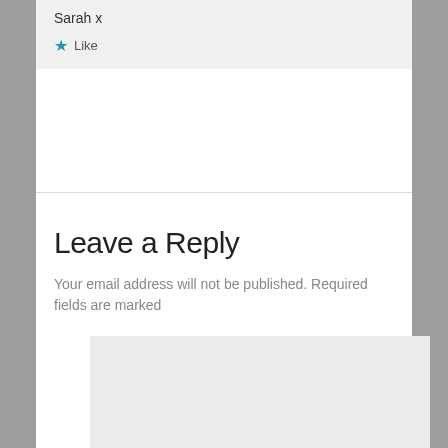Sarah x
★ Like
Leave a Reply
Your email address will not be published. Required fields are marked